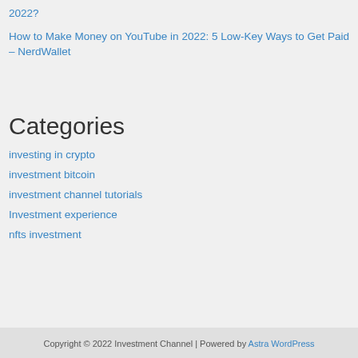2022?
How to Make Money on YouTube in 2022: 5 Low-Key Ways to Get Paid – NerdWallet
Categories
investing in crypto
investment bitcoin
investment channel tutorials
Investment experience
nfts investment
Copyright © 2022 Investment Channel | Powered by Astra WordPress